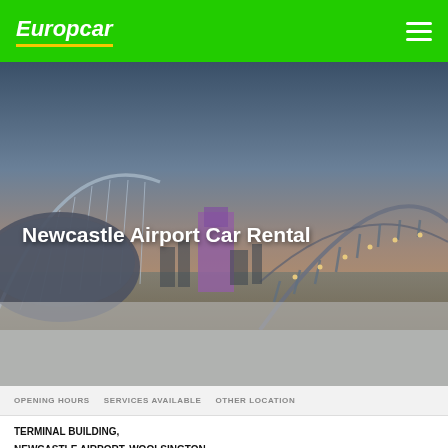Europcar
[Figure (photo): Aerial/dusk view of Newcastle upon Tyne showing the Gateshead Millennium Bridge arc cables and the Tyne Bridge arch lit at night, with warm amber-blue sky background]
Newcastle Airport Car Rental
OPENING HOURS   SERVICES AVAILABLE   OTHER LOCATIONS
TERMINAL BUILDING,
NEWCASTLE AIRPORT, WOOLSINGTON,
NE13 8BZ NEWCASTLE UPON TYNE,